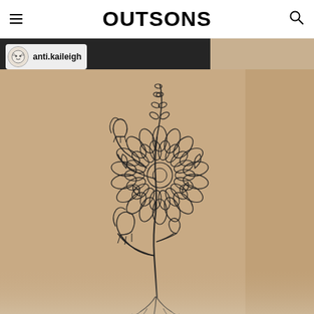OUTSONS
[Figure (photo): Close-up photo of a fine-line floral tattoo on a person's arm, featuring a large chrysanthemum/dahlia bloom in the center with smaller bell-shaped flowers, leafy sprigs, and delicate stems, all in black ink outline style. Instagram watermark with username anti.kaileigh in top-left corner. Shared on the Outsons website.]